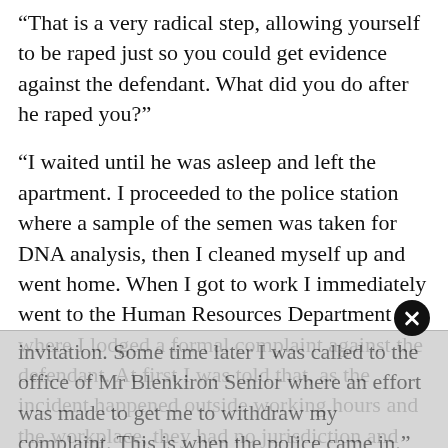“That is a very radical step, allowing yourself to be raped just so you could get evidence against the defendant. What did you do after he raped you?”
“I waited until he was asleep and left the apartment. I proceeded to the police station where a sample of the semen was taken for DNA analysis, then I cleaned myself up and went home. When I got to work I immediately went to the Human Resources Department where I lodged a formal complaint against the defendant. At first I was told that, as the incident happened outside working hours and the workplace, they had no jurisdiction and could do nothing about it. I pointed out to them that the defendant had used his position within the company to encourage, in parenthesis, me to accept his invitation. Some time later I was called to the office of Mr Blenkiron Senior where an effort was made to get me to withdraw my complaint. This is when the police came in.”